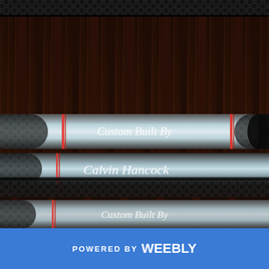[Figure (photo): Close-up photo of custom-built fishing rods with carbon fiber pattern and red wrapping. Two rod sections visible with white script text reading 'Custom Built By' and 'Calvin Hancock' inscribed on the blanks.]
POWERED BY weebly